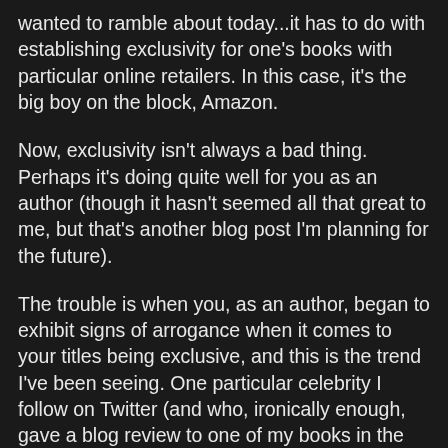wanted to ramble about today...it has to do with establishing exclusivity for one's books with particular online retailers. In this case, it's the big boy on the block, Amazon.
Now, exclusivity isn't always a bad thing. Perhaps it's doing quite well for you as an author (though it hasn't seemed all that great to me, but that's another blog post I'm planning for the future).
The trouble is when you, as an author, began to exhibit signs of arrogance when it comes to your titles being exclusive, and this is the trend I've been seeing. One particular celebrity I follow on Twitter (and who, ironically enough, gave a blog review to one of my books in the far distant past) is notorious for this with his two e-book titles. I constantly see him tweeting responses to fans. They ask him if his books are available anywhere besides Amazon, and he just keeps telling them that there's a free Kindle app...get that and read the books.
Now, I don't have a business degree...but I always thought that the "customer is always right" (some examples not